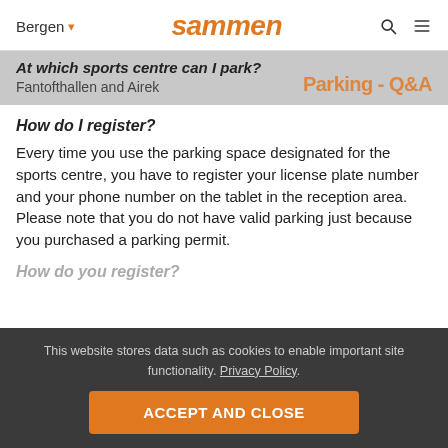Bergen ▾  sammen  [search icon] [menu icon]
At which sports centre can I park? Fantofthallen and Airekt — Parking - Q&A
How do I register?
Every time you use the parking space designated for the sports centre, you have to register your license plate number and your phone number on the tablet in the reception area. Please note that you do not have valid parking just because you purchased a parking permit.
This website stores data such as cookies to enable important site functionality. Privacy Policy.
ACCEPT AND CLOSE